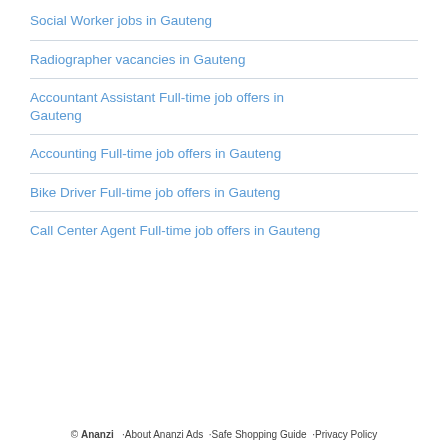Social Worker jobs in Gauteng
Radiographer vacancies in Gauteng
Accountant Assistant Full-time job offers in Gauteng
Accounting Full-time job offers in Gauteng
Bike Driver Full-time job offers in Gauteng
Call Center Agent Full-time job offers in Gauteng
© Ananzi  ·About Ananzi Ads  ·Safe Shopping Guide  ·Privacy Policy